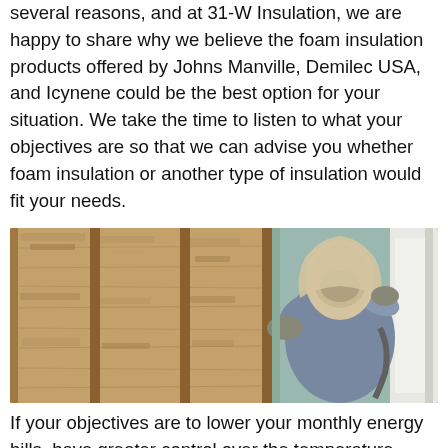several reasons, and at 31-W Insulation, we are happy to share why we believe the foam insulation products offered by Johns Manville, Demilec USA, and Icynene could be the best option for your situation. We take the time to listen to what your objectives are so that we can advise you whether foam insulation or another type of insulation would fit your needs.
[Figure (photo): A worker in full protective gear including a hood and respirator applying spray foam insulation between wall studs in a building under construction.]
If your objectives are to lower your monthly energy bills, have greater control over the temperature